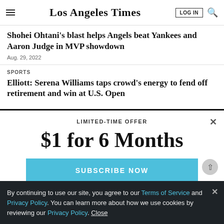Los Angeles Times
Shohei Ohtani's blast helps Angels beat Yankees and Aaron Judge in MVP showdown
Aug. 29, 2022
SPORTS
Elliott: Serena Williams taps crowd's energy to fend off retirement and win at U.S. Open
LIMITED-TIME OFFER
$1 for 6 Months
SUBSCRIBE NOW
By continuing to use our site, you agree to our Terms of Service and Privacy Policy. You can learn more about how we use cookies by reviewing our Privacy Policy. Close